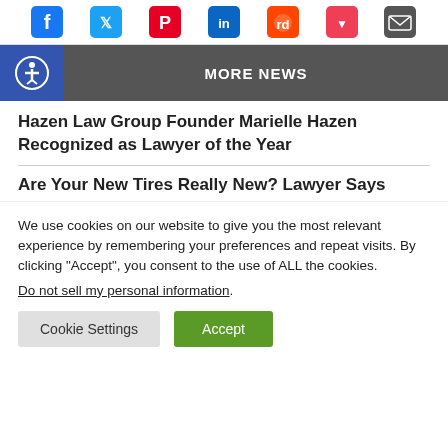[Figure (other): Row of social media sharing icons: Facebook, Twitter, Pinterest, LinkedIn, Reddit, Pocket, Email]
MORE NEWS
Hazen Law Group Founder Marielle Hazen Recognized as Lawyer of the Year
Are Your New Tires Really New? Lawyer Says
We use cookies on our website to give you the most relevant experience by remembering your preferences and repeat visits. By clicking “Accept”, you consent to the use of ALL the cookies. Do not sell my personal information.
Cookie Settings   Accept